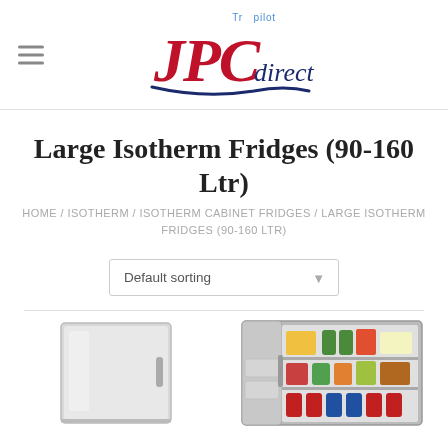JPC direct (logo) with Trustpilot
Large Isotherm Fridges (90-160 Ltr)
HOME / ISOTHERM / ISOTHERM CABINET FRIDGES / LARGE ISOTHERM FRIDGES (90-160 LTR)
[Figure (screenshot): Default sorting dropdown selector]
[Figure (photo): Two refrigerator product thumbnails - left: stainless steel cabinet fridge closed door, right: open fridge showing contents including drinks and food]